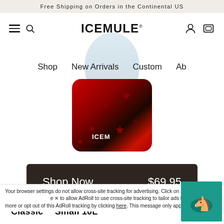Free Shipping on Orders in the Continental US
[Figure (logo): ICEMULE brand logo text]
[Figure (photo): ICEMULE Classic Small 10L cooler bag in red with black star pattern, with light blue top portion]
Shop   New Arrivals   Custom   Ab
Shop Now   $69.95
Classic™ Small 10L
Your browser settings do not allow cross-site tracking for advertising. Click on Accc e X to allow AdRoll to use cross-site tracking to tailor ads to you. Learn more or opt out of this AdRoll tracking by clicking here. This message only appears once.